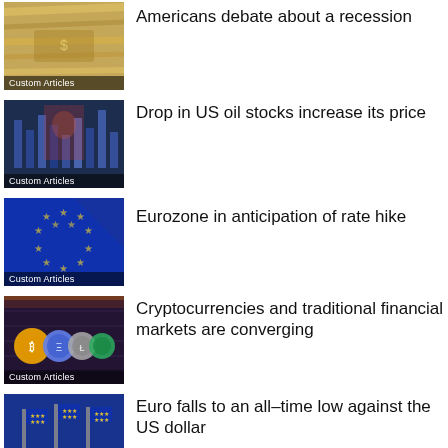[Figure (photo): Money/dollar bills photo with Custom Articles label]
Americans debate about a recession
[Figure (photo): Stock market digital screen photo with Custom Articles label]
Drop in US oil stocks increase its price
[Figure (photo): EU flag photo with Custom Articles label]
Eurozone in anticipation of rate hike
[Figure (photo): Cryptocurrency coins photo with Custom Articles label]
Cryptocurrencies and traditional financial markets are converging
[Figure (photo): EU flags photo with Custom Articles label]
Euro falls to an all–time low against the US dollar